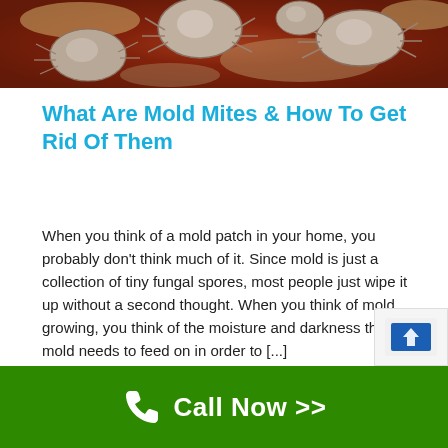[Figure (photo): Close-up microscope image of mold mites, showing grayish-brown mite shapes against a dark red and tan mold background]
What Are Mold Mites & How To Get Rid Of Them
When you think of a mold patch in your home, you probably don't think much of it. Since mold is just a collection of tiny fungal spores, most people just wipe it up without a second thought. When you think of mold growing, you think of the moisture and darkness that mold needs to feed on in order to [...]
[Figure (logo): reCAPTCHA widget partially visible in bottom right corner]
Call Now >>